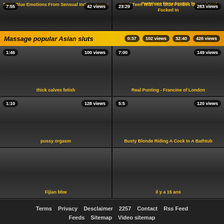[Figure (screenshot): Video thumbnail grid - adult video site layout]
Pantyhose Gives Footjob To
7:55 | 42 views
23:29 | 283 views
Deep Blue Emotions From Sensual Indian Waters
Coed Teen With Hot Blue Panties Groped and Fucked In
Massage popular Asian sluts
0:37 | 102 views
32:40 | 426 views
thick calves fetish
Real Punting - Francine of London
1:46 | 100 views
7:00 | 149 views
pussy orgasm
Busty Blonde Riding A Cock In A Bathtub
1:10 | 128 views
5:5 | 120 views
Fijian bbw
il y a 15 ans
Terms  Privacy  Desclaimer  2257  Contact  Rss Feed  Feeds  Sitemap  Video sitemap